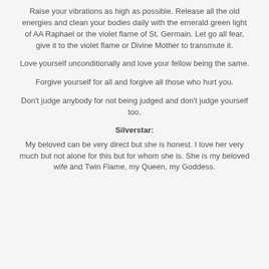Raise your vibrations as high as possible. Release all the old energies and clean your bodies daily with the emerald green light of AA Raphael or the violet flame of St. Germain. Let go all fear, give it to the violet flame or Divine Mother to transmute it.
Love yourself unconditionally and love your fellow being the same.
Forgive yourself for all and forgive all those who hurt you.
Don't judge anybody for not being judged and don't judge yourself too.
Silverstar:
My beloved can be very direct but she is honest. I love her very much but not alone for this but for whom she is. She is my beloved wife and Twin Flame, my Queen, my Goddess.